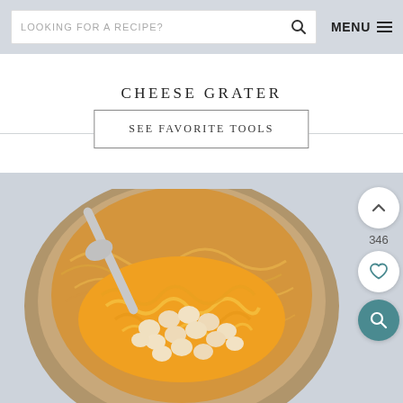LOOKING FOR A RECIPE?  MENU
CHEESE GRATER
SEE FAVORITE TOOLS
[Figure (photo): Overhead close-up photo of a bowl containing pasta or noodles topped with shredded orange cheese and small round oyster crackers, with a silver spoon visible]
346